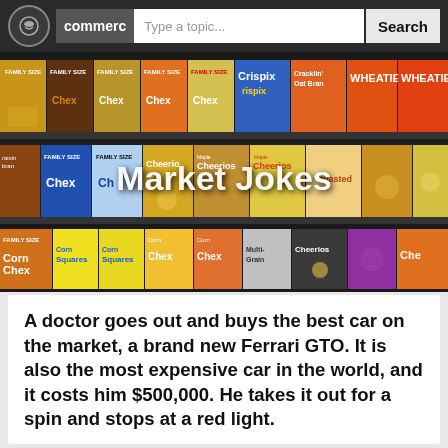commerc  Type a topic...  Search
[Figure (photo): Supermarket cereal aisle shelves showing various boxes of Chex, Crispix, Wheaties, Cheerios cereals with text overlay 'Market Jokes']
Market Jokes
A doctor goes out and buys the best car on the market, a brand new Ferrari GTO. It is also the most expensive car in the world, and it costs him $500,000. He takes it out for a spin and stops at a red light.
An old man on a moped, looking about 100 years old, pulls up next to him.